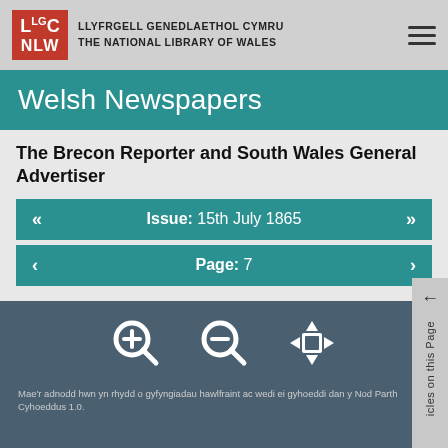LLYFRGELL GENEDLAETHOL CYMRU THE NATIONAL LIBRARY OF WALES
Welsh Newspapers
The Brecon Reporter and South Wales General Advertiser
Issue: 15th July 1865
Page: 7
[Figure (infographic): Three icon buttons: zoom in (magnifying glass with +), zoom out (magnifying glass with -), and move/pan (four-directional arrow)]
Mae'r adnodd hwn yn rhydd o gyfyngiadau hawlfraint ac wedi ei gyhoeddi dan y Nod Parth Cyhoeddus 1.0.